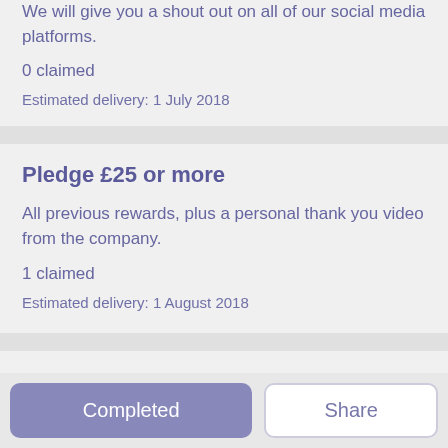We will give you a shout out on all of our social media platforms.
0 claimed
Estimated delivery: 1 July 2018
Pledge £25 or more
All previous rewards, plus a personal thank you video from the company.
1 claimed
Estimated delivery: 1 August 2018
Completed
Share